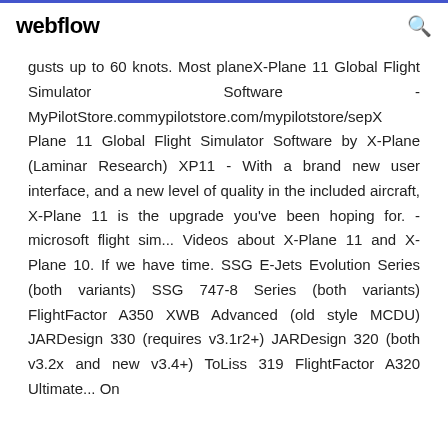webflow
gusts up to 60 knots. Most planeX-Plane 11 Global Flight Simulator Software - MyPilotStore.commypilotstore.com/mypilotstore/sepX Plane 11 Global Flight Simulator Software by X-Plane (Laminar Research) XP11 - With a brand new user interface, and a new level of quality in the included aircraft, X-Plane 11 is the upgrade you've been hoping for. - microsoft flight sim... Videos about X-Plane 11 and X-Plane 10. If we have time. SSG E-Jets Evolution Series (both variants) SSG 747-8 Series (both variants) FlightFactor A350 XWB Advanced (old style MCDU) JARDesign 330 (requires v3.1r2+) JARDesign 320 (both v3.2x and new v3.4+) ToLiss 319 FlightFactor A320 Ultimate... On